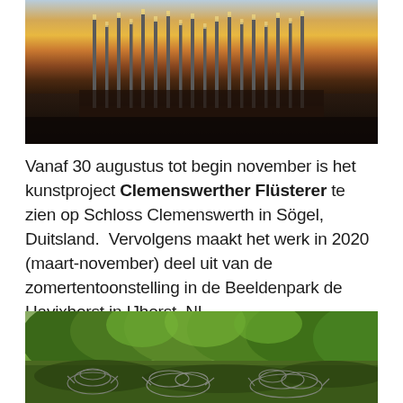[Figure (photo): Outdoor art installation with tall vertical metal poles/rods at dusk/sunset, photographed against an orange and blue sky with flat landscape in background.]
Vanaf 30 augustus tot begin november is het kunstproject Clemenswerther Flüsterer te zien op Schloss Clemenswerth in Sögel, Duitsland. Vervolgens maakt het werk in 2020 (maart-november) deel uit van de zomertentoonstelling in de Beeldenpark de Havixhorst in IJhorst, NL.
[Figure (photo): Outdoor sculpture park with transparent/wire frame sculpture installations placed on a lawn in front of a dense green tree canopy.]